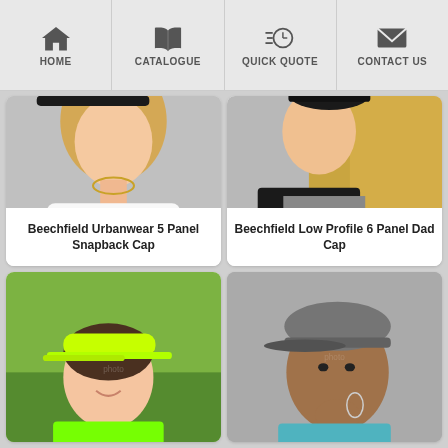HOME | CATALOGUE | QUICK QUOTE | CONTACT US
[Figure (photo): Woman wearing a black snapback cap, blonde hair, white top with gold chain necklace]
Beechfield Urbanwear 5 Panel Snapback Cap
[Figure (photo): Woman with long blonde hair wearing a dark turtleneck and grey knit sweater, profile view]
Beechfield Low Profile 6 Panel Dad Cap
[Figure (photo): Smiling woman wearing a bright green/neon visor cap and matching green shirt, outdoors]
[Figure (photo): Young man wearing a grey washed baseball cap, looking to the side with hand near chin]